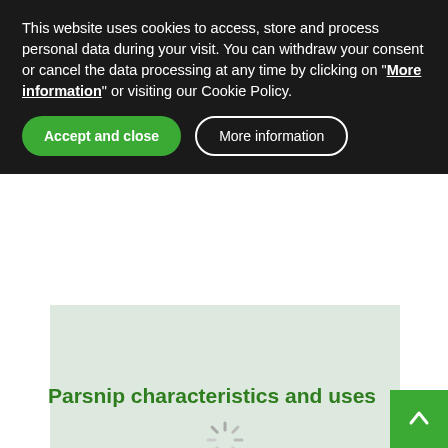This website uses cookies to access, store and process personal data during your visit. You can withdraw your consent or cancel the data processing at any time by clicking on "More information" or visiting our Cookie Policy.
Accept and close
More information
[Figure (other): Loading placeholder area with a spinner icon, light green background]
Parsnip characteristics and uses